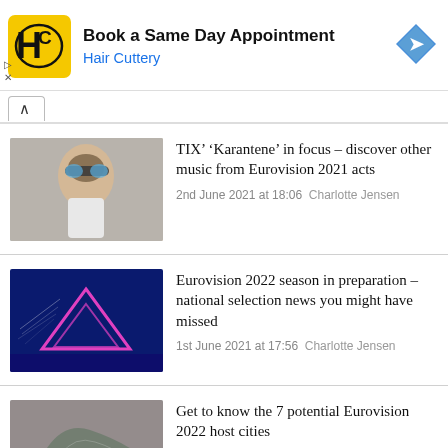[Figure (infographic): Hair Cuttery advertisement banner with logo, headline 'Book a Same Day Appointment', subtext 'Hair Cuttery', and a blue diamond arrow icon on the right.]
TIX’ ‘Karantene’ in focus – discover other music from Eurovision 2021 acts
2nd June 2021 at 18:06  Charlotte Jensen
Eurovision 2022 season in preparation – national selection news you might have missed
1st June 2021 at 17:56  Charlotte Jensen
Get to know the 7 potential Eurovision 2022 host cities